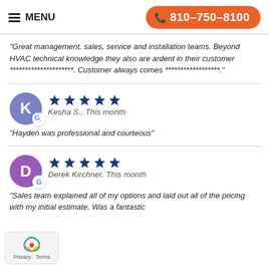MENU | 810-750-8100
“Great management, sales, service and installation teams. Beyond HVAC technical knowledge they also are ardent in their customer *********************. Customer always comes ******************.”
[Figure (other): Google review by Kesha S. with 5 stars, This month. Avatar: blue circle with letter K and Google badge.]
“Hayden was professional and courteous”
[Figure (other): Google review by Derek Kirchner with 5 stars, This month. Avatar: purple circle with letter D and Google badge.]
“Sales team explained all of my options and laid out all of the pricing with my initial estimate. Was a fantastic